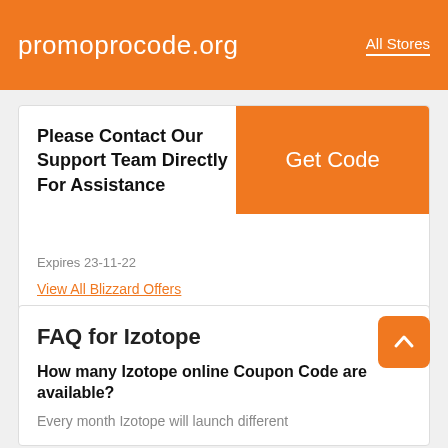promoprocode.org  All Stores
Please Contact Our Support Team Directly For Assistance
Expires 23-11-22
View All Blizzard Offers
FAQ for Izotope
How many Izotope online Coupon Code are available?
Every month Izotope will launch different